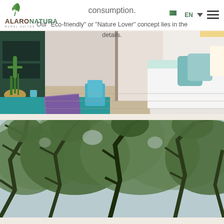ALARO NATURA - RURAL SUITES
consumption.
Our "Eco-friendly" or "Nature Lover" concept lies in the details.
[Figure (photo): Hotel room interior with teal/mint colored bed, decorative pillows, a desk with plant, blue chair, and a magazine on a teal surface]
[Figure (photo): Outdoor view looking up through a dense canopy of green oak/evergreen trees]